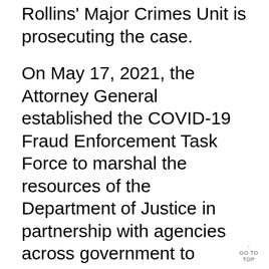Rollins' Major Crimes Unit is prosecuting the case.
On May 17, 2021, the Attorney General established the COVID-19 Fraud Enforcement Task Force to marshal the resources of the Department of Justice in partnership with agencies across government to enhance efforts to combat and prevent pandemic-related fraud. The Task Force bolsters efforts to investigate and prosecute the most culpable domestic and international criminal actors and assists agencies tasked with administering